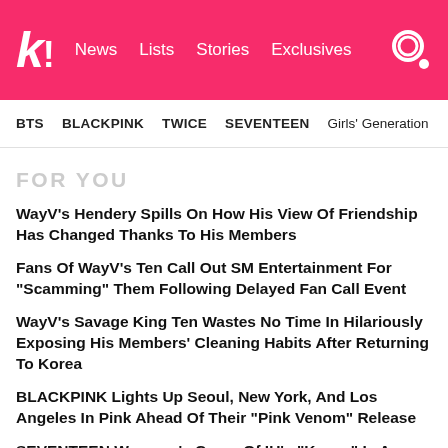k! News Lists Stories Exclusives
BTS  BLACKPINK  TWICE  SEVENTEEN  Girls' Generation
FOR YOU
WayV's Hendery Spills On How His View Of Friendship Has Changed Thanks To His Members
Fans Of WayV's Ten Call Out SM Entertainment For "Scamming" Them Following Delayed Fan Call Event
WayV's Savage King Ten Wastes No Time In Hilariously Exposing His Members' Cleaning Habits After Returning To Korea
BLACKPINK Lights Up Seoul, New York, And Los Angeles In Pink Ahead Of Their "Pink Venom" Release
SEVENTEEN Wonwoo's Cover Of IU's "Knees" Is A Heartfelt Ode To His Mother